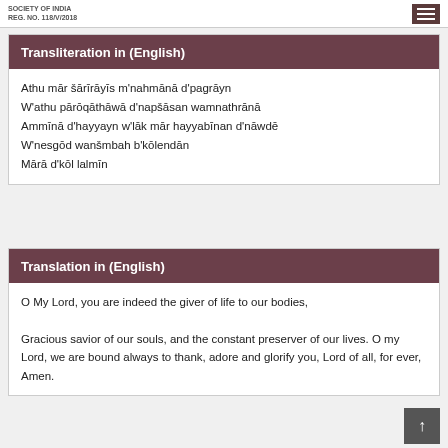SOCIETY OF INDIA REG. NO. 118/V/2018
Transliteration in (English)
Athu mār šārīrāyīs m'nahmānā d'pagrāyn
W'athu pārōqāthāwā d'napšāsan wamnathrānā
Ammīnā d'hayyayn w'lāk mār hayyabīnan d'nāwdē
W'nesgōd wanšmbah b'kōlendān
Mārā d'kōl lalmīn
Translation in (English)
O My Lord, you are indeed the giver of life to our bodies,

Gracious savior of our souls, and the constant preserver of our lives. O my Lord, we are bound always to thank, adore and glorify you, Lord of all, for ever, Amen.